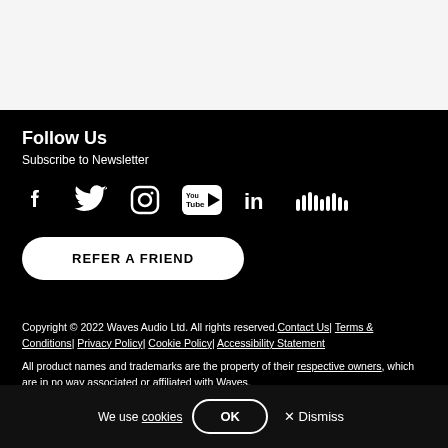Follow Us
Subscribe to Newsletter
[Figure (illustration): Social media icons: Facebook, Twitter, Instagram, YouTube, LinkedIn, SoundCloud]
REFER A FRIEND
Copyright © 2022 Waves Audio Ltd. All rights reserved. Contact Us| Terms & Conditions| Privacy Policy| Cookie Policy| Accessibility Statement
All product names and trademarks are the property of their respective owners, which are in no way associated or affiliated with Waves.
We use cookies OK Dismiss